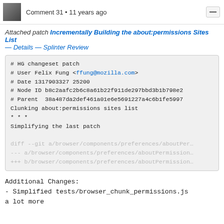Comment 31 • 11 years ago
Attached patch Incrementally Building the about:permissions Sites List — Details — Splinter Review
# HG changeset patch
# User Felix Fung <ffung@mozilla.com>
# Date 1317903327 25200
# Node ID b8c2aafc2b6c8a61b22f911de297bbd3b1b798e2
# Parent  38a487da2def461a01e6e5691227a4c6b1fe5997
Clunking about:permissions sites list
* * *
Simplifying the last patch

diff --git a/browser/components/preferences/aboutPer...
--- a/browser/components/preferences/aboutPermission...
+++ b/browser/components/preferences/aboutPermission...
Additional Changes:
- Simplified tests/browser_chunk_permissions.js a lot more

I don't know whether just registering all the